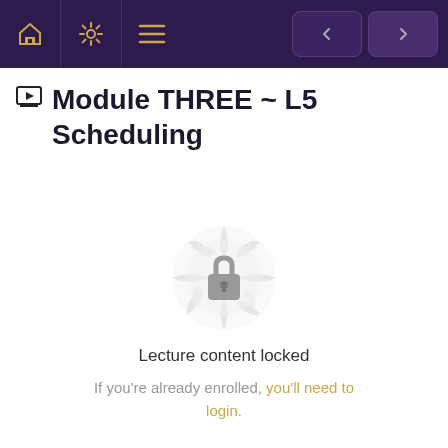Navigation bar with home, settings, menu icons and previous/next buttons
Module THREE ~ L5 Scheduling
[Figure (illustration): A decorative mandala/gear-like circular badge in light grey with a padlock icon in the center, indicating locked content]
Lecture content locked
If you're already enrolled, you'll need to login.